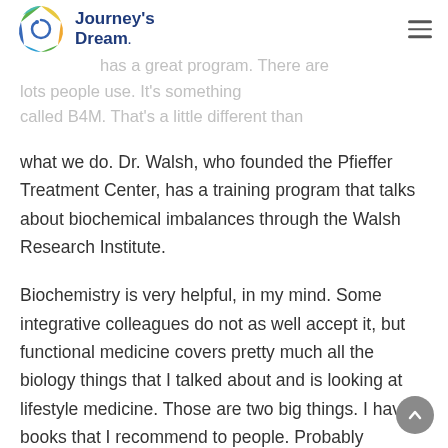[Figure (logo): Journey's Dream logo — a circular colorful wheel icon with text 'Journey's Dream' in dark navy blue]
things but The Institute for Functional in which I'm doing my certification, has a great program. There are lots people use. It's something called B4M. That's a little different than what we do. Dr. Walsh, who founded the Pfieffer Treatment Center, has a training program that talks about biochemical imbalances through the Walsh Research Institute.
Biochemistry is very helpful, in my mind. Some integrative colleagues do not as well accept it, but functional medicine covers pretty much all the biology things that I talked about and is looking at lifestyle medicine. Those are two big things. I have books that I recommend to people. Probably